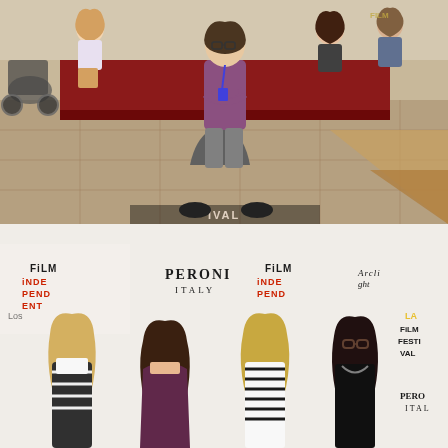[Figure (photo): Group of teenagers posing on a red carpet at a film festival. One teen in the center is sitting on the floor with legs spread wide and arms crossed, wearing glasses, a plaid shirt, and gray pants. Others are kneeling or crouching around him on the red carpet. A wheelchair is visible on the left side. The background shows a tiled floor and decorative elements.]
[Figure (photo): Four teenage girls posing together in front of a Film Independent / LA Film Festival step-and-repeat banner. The banner also shows PERONI ITALY and ARCLIGHT logos. From left to right: a girl in a striped cardigan and white crop top with long blonde hair; a girl in a strapless purple/maroon dress with long brown wavy hair; a girl in a black and white striped top with long blonde hair; a girl in a black sleeveless top with short dark curly hair and glasses.]